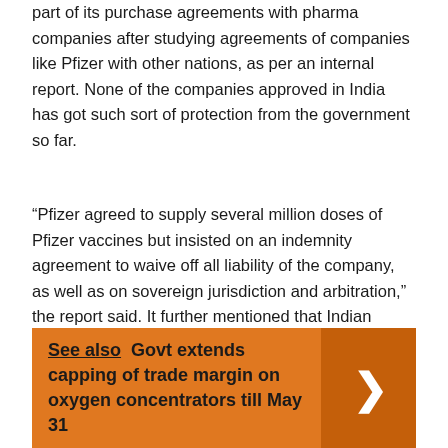part of its purchase agreements with pharma companies after studying agreements of companies like Pfizer with other nations, as per an internal report. None of the companies approved in India has got such sort of protection from the government so far.
“Pfizer agreed to supply several million doses of Pfizer vaccines but insisted on an indemnity agreement to waive off all liability of the company, as well as on sovereign jurisdiction and arbitration,” the report said. It further mentioned that Indian missions abroad confirmed the existence of such agreements and apprised the concerned authorities about the same.
See also  Govt extends capping of trade margin on oxygen concentrators till May 31